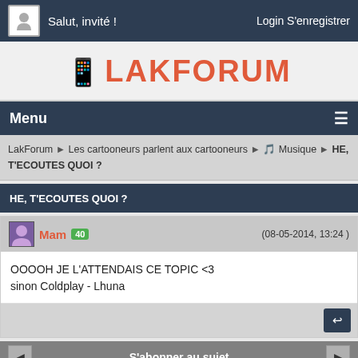Salut, invité !  Login S'enregistrer
LAKFORUM
Menu
LakForum ▶ Les cartooneurs parlent aux cartooneurs ▶ 🎵 Musique ▶ HE, T'ECOUTES QUOI ?
HE, T'ECOUTES QUOI ?
Mam  40  (08-05-2014, 13:24)
OOOOH JE L'ATTENDAIS CE TOPIC <3
sinon Coldplay - Lhuna
S'abonner au sujet